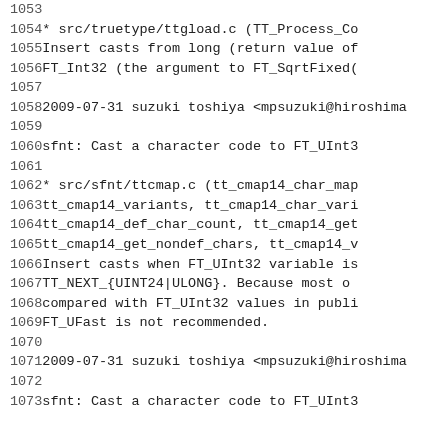1053
1054    * src/truetype/ttgload.c (TT_Process_Co
1055    Insert casts from long (return value of
1056    FT_Int32 (the argument to FT_SqrtFixed(
1057
1058 2009-07-31  suzuki toshiya  <mpsuzuki@hiroshima
1059
1060         sfnt: Cast a character code to FT_UInt3
1061
1062         * src/sfnt/ttcmap.c (tt_cmap14_char_map
1063         tt_cmap14_variants, tt_cmap14_char_vari
1064         tt_cmap14_def_char_count, tt_cmap14_get
1065         tt_cmap14_get_nondef_chars, tt_cmap14_v
1066         Insert casts when FT_UInt32 variable is
1067         TT_NEXT_{UINT24|ULONG}.  Because most o
1068         compared with FT_UInt32 values in publi
1069         FT_UFast is not recommended.
1070
1071 2009-07-31  suzuki toshiya  <mpsuzuki@hiroshima
1072
1073         sfnt: Cast a character code to FT_UInt3